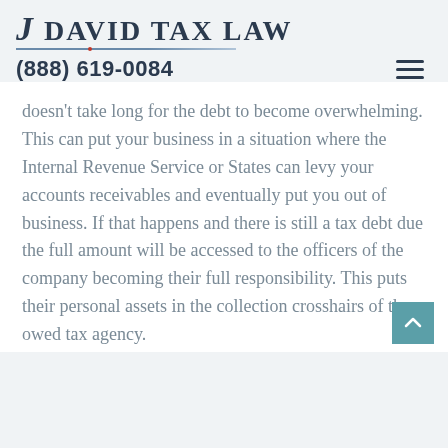J David Tax Law
(888) 619-0084
doesn't take long for the debt to become overwhelming. This can put your business in a situation where the Internal Revenue Service or States can levy your accounts receivables and eventually put you out of business. If that happens and there is still a tax debt due the full amount will be accessed to the officers of the company becoming their full responsibility. This puts their personal assets in the collection crosshairs of the owed tax agency.
At J. David Tax Law we have business tax attorneys that only represent business tax